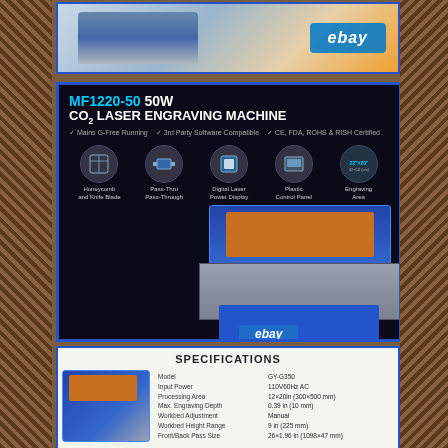[Figure (photo): eBay listing product image of a CO2 laser engraving machine from above/side, blue and grey color scheme]
[Figure (illustration): MF1220-50 50W CO2 Laser Engraving Machine promotional infographic on dark background showing 5 feature icons and a product photo with ebay watermark. Features listed: Honeycomb and Knife Blade, Pass-Through, Digital Laser Power Display, Plastic Control Panel, Engraving Area 22x20 (42x50cm)]
[Figure (table-as-image): Specifications table for laser engraver showing: Model: GY-G350, Input Power: 110V60Hz AC, Processing Area: 12x20in (300x500mm), Max. Engraving Depth: 0.39in (10mm), Workbed Adjustment: Manual, Workbed Height Range: 9in (225mm), Front/Back Pass Size: 26x1.96in (1098x47mm). Includes small product image on left.]